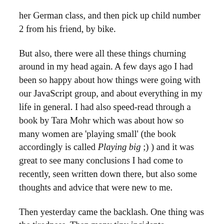her German class, and then pick up child number 2 from his friend, by bike.
But also, there were all these things churning around in my head again. A few days ago I had been so happy about how things were going with our JavaScript group, and about everything in my life in general. I had also speed-read through a book by Tara Mohr which was about how so many women are 'playing small' (the book accordingly is called Playing big ;) ) and it was great to see many conclusions I had come to recently, seen written down there, but also some thoughts and advice that were new to me.
Then yesterday came the backlash. One thing was the tiredness. Then many tiny incidents -